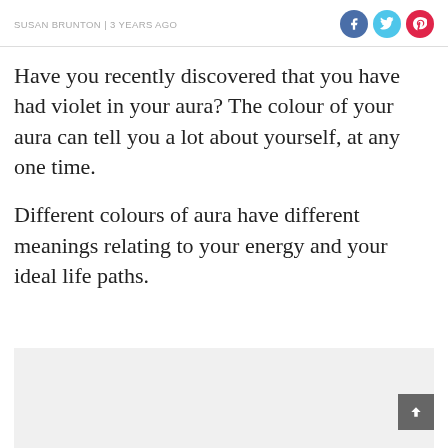SUSAN BRUNTON | 3 YEARS AGO
Have you recently discovered that you have had violet in your aura? The colour of your aura can tell you a lot about yourself, at any one time.
Different colours of aura have different meanings relating to your energy and your ideal life paths.
[Figure (other): Light grey advertisement or content placeholder box at the bottom of the page with a dark grey scroll-to-top button in the lower right corner.]